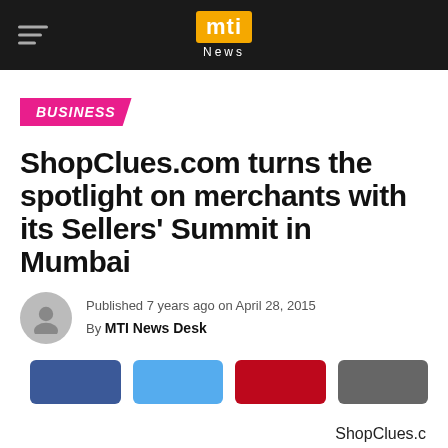mti News
BUSINESS
ShopClues.com turns the spotlight on merchants with its Sellers' Summit in Mumbai
Published 7 years ago on April 28, 2015
By MTI News Desk
[Figure (other): Social share buttons: Facebook (blue), Twitter (light blue), Pinterest (red), Share (grey)]
ShopClues.com, India's first and largest managed